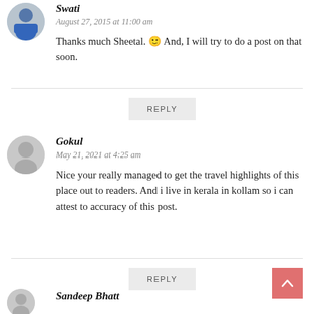[Figure (photo): Profile photo of Swati, a woman in blue outfit]
Swati
August 27, 2015 at 11:00 am
Thanks much Sheetal. 🙂 And, I will try to do a post on that soon.
REPLY
[Figure (illustration): Generic grey avatar silhouette for Gokul]
Gokul
May 21, 2021 at 4:25 am
Nice your really managed to get the travel highlights of this place out to readers. And i live in kerala in kollam so i can attest to accuracy of this post.
REPLY
[Figure (illustration): Generic grey avatar silhouette for Sandeep Bhatt]
Sandeep Bhatt